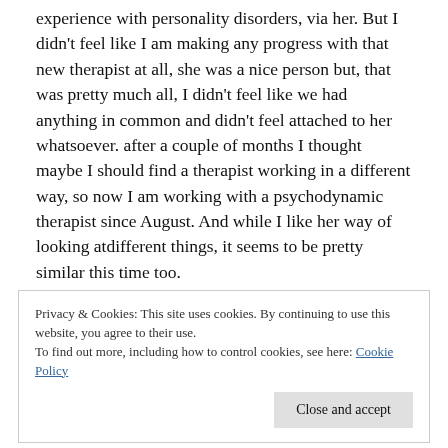experience with personality disorders, via her. But I didn't feel like I am making any progress with that new therapist at all, she was a nice person but, that was pretty much all, I didn't feel like we had anything in common and didn't feel attached to her whatsoever. after a couple of months I thought maybe I should find a therapist working in a different way, so now I am working with a psychodynamic therapist since August. And while I like her way of looking atdifferent things, it seems to be pretty similar this time too.
Privacy & Cookies: This site uses cookies. By continuing to use this website, you agree to their use.
To find out more, including how to control cookies, see here: Cookie Policy
Close and accept